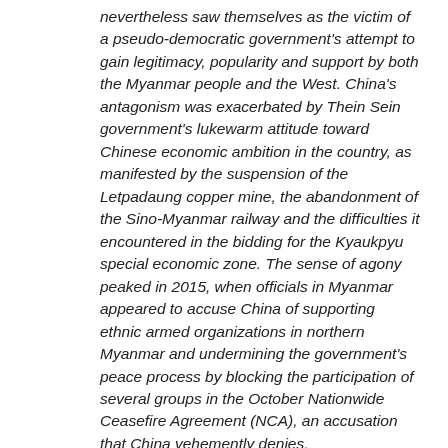nevertheless saw themselves as the victim of a pseudo-democratic government's attempt to gain legitimacy, popularity and support by both the Myanmar people and the West. China's antagonism was exacerbated by Thein Sein government's lukewarm attitude toward Chinese economic ambition in the country, as manifested by the suspension of the Letpadaung copper mine, the abandonment of the Sino-Myanmar railway and the difficulties it encountered in the bidding for the Kyaukpyu special economic zone. The sense of agony peaked in 2015, when officials in Myanmar appeared to accuse China of supporting ethnic armed organizations in northern Myanmar and undermining the government's peace process by blocking the participation of several groups in the October Nationwide Ceasefire Agreement (NCA), an accusation that China vehemently denies.
Such a difficult context puts Aung San Suu Kyi's China policy at a critical juncture in history. The NLD...